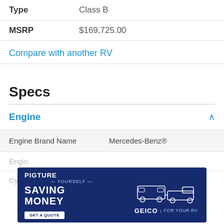| Field | Value |
| --- | --- |
| Type | Class B |
| MSRP | $169,725.00 |
Compare with another RV
Specs
Engine
| Spec | Value |
| --- | --- |
| Engine Brand Name | Mercedes-Benz® |
[Figure (screenshot): GEICO advertisement banner: 'Picture Yourself Saving Money — GEICO For Your RV, Get a Quote' with illustration of truck towing RV camper on dark blue background]